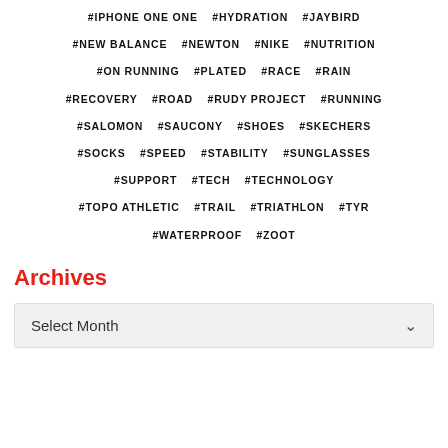#IPHONE ONE ONE #HYDRATION #JAYBIRD
#NEW BALANCE #NEWTON #NIKE #NUTRITION
#ON RUNNING #PLATED #RACE #RAIN
#RECOVERY #ROAD #RUDY PROJECT #RUNNING
#SALOMON #SAUCONY #SHOES #SKECHERS
#SOCKS #SPEED #STABILITY #SUNGLASSES
#SUPPORT #TECH #TECHNOLOGY
#TOPO ATHLETIC #TRAIL #TRIATHLON #TYR
#WATERPROOF #ZOOT
Archives
Select Month